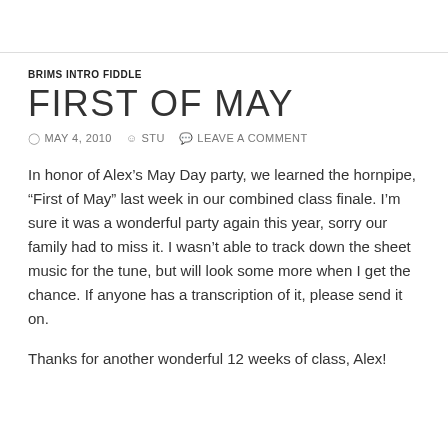BRIMS INTRO FIDDLE
FIRST OF MAY
MAY 4, 2010   STU   LEAVE A COMMENT
In honor of Alex’s May Day party, we learned the hornpipe, “First of May” last week in our combined class finale. I’m sure it was a wonderful party again this year, sorry our family had to miss it. I wasn’t able to track down the sheet music for the tune, but will look some more when I get the chance. If anyone has a transcription of it, please send it on.
Thanks for another wonderful 12 weeks of class, Alex!